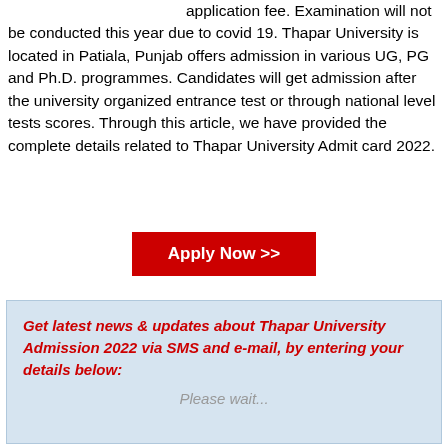application fee. Examination will not be conducted this year due to covid 19. Thapar University is located in Patiala, Punjab offers admission in various UG, PG and Ph.D. programmes. Candidates will get admission after the university organized entrance test or through national level tests scores. Through this article, we have provided the complete details related to Thapar University Admit card 2022.
Apply Now >>
Get latest news & updates about Thapar University Admission 2022 via SMS and e-mail, by entering your details below:
Please wait...